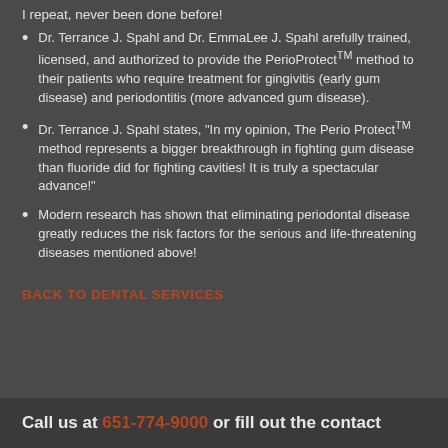I repeat, never been done before!
Dr. Terrance J. Spahl and Dr. EmmaLee J. Spahl arefully trained, licensed, and authorized to provide the PerioProtect™ method to their patients who require treatment for gingivitis (early gum disease) and periodontitis (more advanced gum disease).
Dr. Terrance J. Spahl states, "In my opinion, The Perio Protect™ method represents a bigger breakthrough in fighting gum disease than fluoride did for fighting cavities! It is truly a spectacular advance!"
Modern research has shown that eliminating periodontal disease greatly reduces the risk factors for the serious and life-threatening diseases mentioned above!
BACK TO DENTAL SERVICES
Call us at 651-774-9000 or fill out the contact